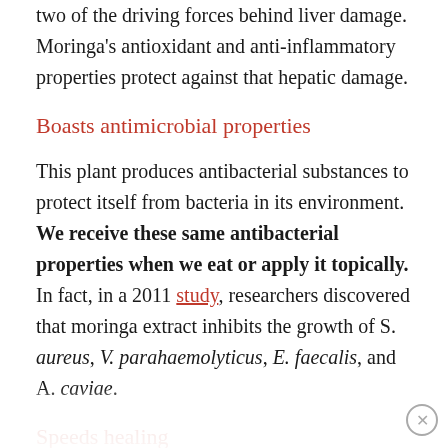two of the driving forces behind liver damage. Moringa's antioxidant and anti-inflammatory properties protect against that hepatic damage.
Boasts antimicrobial properties
This plant produces antibacterial substances to protect itself from bacteria in its environment. We receive these same antibacterial properties when we eat or apply it topically. In fact, in a 2011 study, researchers discovered that moringa extract inhibits the growth of S. aureus, V. parahaemolyticus, E. faecalis, and A. caviae.
Speeds healing
Traditionally, many use moringa as a poultice to speed wound healing. We now have research to support what those who have used this plant for…